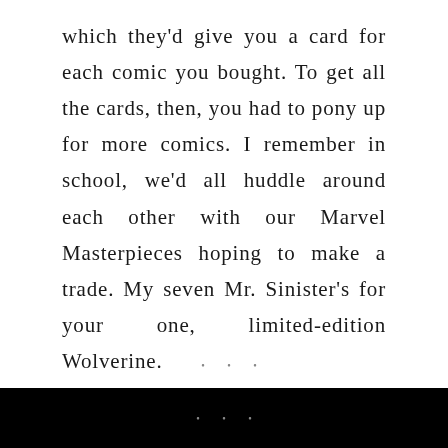which they'd give you a card for each comic you bought. To get all the cards, then, you had to pony up for more comics. I remember in school, we'd all huddle around each other with our Marvel Masterpieces hoping to make a trade. My seven Mr. Sinister's for your one, limited-edition Wolverine.